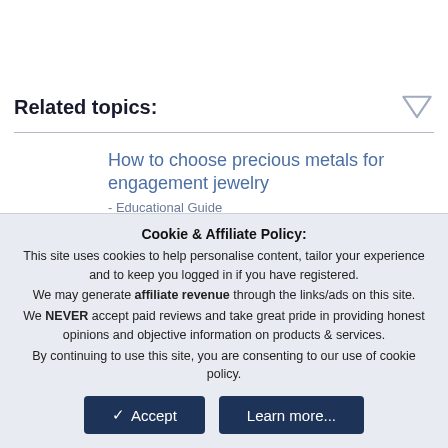Related topics:
How to choose precious metals for engagement jewelry - Educational Guide
[Figure (illustration): Icon of a bar chart with an upward arrow and a dollar sign inside a circle, representing financial growth or pricing calculator]
Diamond Prices and Diamond Price Calculator - Resources
Cookie & Affiliate Policy: This site uses cookies to help personalise content, tailor your experience and to keep you logged in if you have registered. We may generate affiliate revenue through the links/ads on this site. We NEVER accept paid reviews and take great pride in providing honest opinions and objective information on products & services. By continuing to use this site, you are consenting to our use of cookie policy.